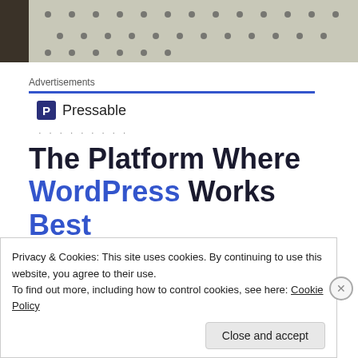[Figure (photo): Partial photo at top of page showing a dotted/perforated white surface with dark background]
Advertisements
[Figure (logo): Pressable logo with blue square icon containing letter P and dots below]
The Platform Where WordPress Works Best
Privacy & Cookies: This site uses cookies. By continuing to use this website, you agree to their use.
To find out more, including how to control cookies, see here: Cookie Policy